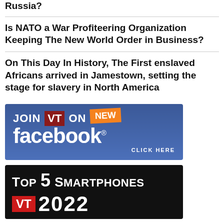Russia?
Is NATO a War Profiteering Organization Keeping The New World Order in Business?
On This Day In History, The First enslaved Africans arrived in Jamestown, setting the stage for slavery in North America
[Figure (infographic): JOIN VT ON NEW facebook CLICK HERE - blue Facebook promotional banner with orange NEW badge]
[Figure (infographic): TOP 5 SMARTPHONES VT 2022 - black banner with red VT logo and white text]